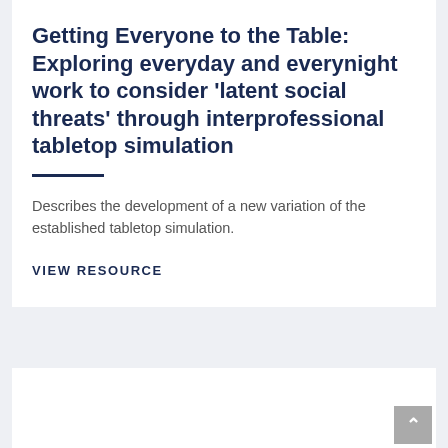Getting Everyone to the Table: Exploring everyday and everynight work to consider 'latent social threats' through interprofessional tabletop simulation
Describes the development of a new variation of the established tabletop simulation.
VIEW RESOURCE